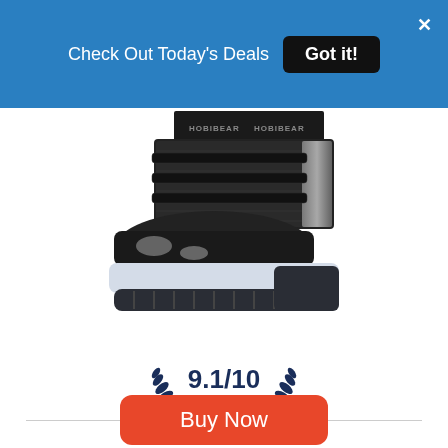Check Out Today's Deals  Got it!
[Figure (photo): Black HOBIBEAR kids snow boot with velcro straps, silver-grey accents, and white chunky sole on white background]
9.1/10 our score
Buy Now